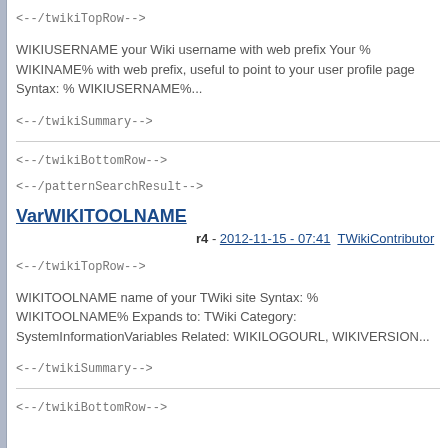<--/twikiTopRow-->
WIKIUSERNAME your Wiki username with web prefix Your % WIKINAME% with web prefix, useful to point to your user profile page Syntax: % WIKIUSERNAME%...
<--/twikiSummary-->
<--/twikiBottomRow-->
<--/patternSearchResult-->
VarWIKITOOLNAME
r4 - 2012-11-15 - 07:41  TWikiContributor
<--/twikiTopRow-->
WIKITOOLNAME name of your TWiki site Syntax: % WIKITOOLNAME% Expands to: TWiki Category: SystemInformationVariables Related: WIKILOGOURL, WIKIVERSION...
<--/twikiSummary-->
<--/twikiBottomRow-->